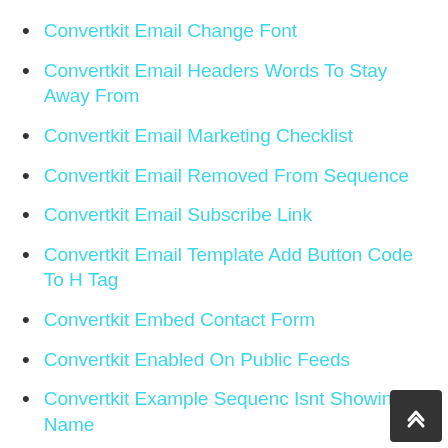Convertkit Email Change Font
Convertkit Email Headers Words To Stay Away From
Convertkit Email Marketing Checklist
Convertkit Email Removed From Sequence
Convertkit Email Subscribe Link
Convertkit Email Template Add Button Code To H Tag
Convertkit Embed Contact Form
Convertkit Enabled On Public Feeds
Convertkit Example Sequenc Isnt Showing Name